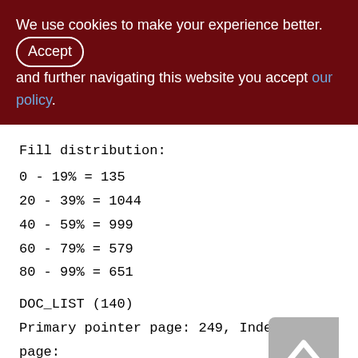We use cookies to make your experience better. By accepting and further navigating this website you accept our policy.
Fill distribution:
0 - 19% = 135
20 - 39% = 1044
40 - 59% = 999
60 - 79% = 579
80 - 99% = 651
DOC_LIST (140)
Primary pointer page: 249, Index root page: 250
Total formats: 1, used formats: 1
Average record length: 60.49, total